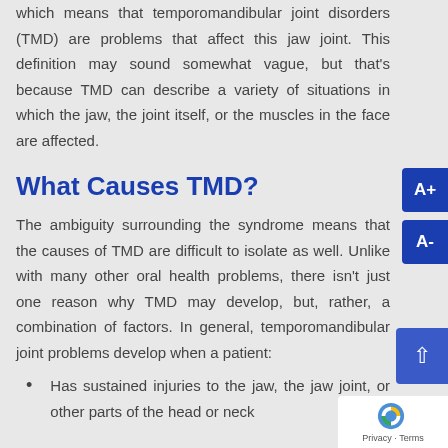which means that temporomandibular joint disorders (TMD) are problems that affect this jaw joint. This definition may sound somewhat vague, but that's because TMD can describe a variety of situations in which the jaw, the joint itself, or the muscles in the face are affected.
What Causes TMD?
The ambiguity surrounding the syndrome means that the causes of TMD are difficult to isolate as well. Unlike with many other oral health problems, there isn't just one reason why TMD may develop, but, rather, a combination of factors. In general, temporomandibular joint problems develop when a patient:
Has sustained injuries to the jaw, the jaw joint, or other parts of the head or neck